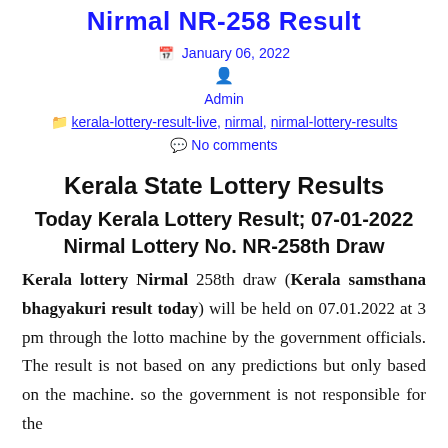Nirmal NR-258 Result
January 06, 2022
Admin
kerala-lottery-result-live, nirmal, nirmal-lottery-results
No comments
Kerala State Lottery Results
Today Kerala Lottery Result; 07-01-2022
Nirmal Lottery No. NR-258th Draw
Kerala lottery Nirmal 258th draw (Kerala samsthana bhagyakuri result today) will be held on 07.01.2022 at 3 pm through the lotto machine by the government officials. The result is not based on any predictions but only based on the machine. so the government is not responsible for the